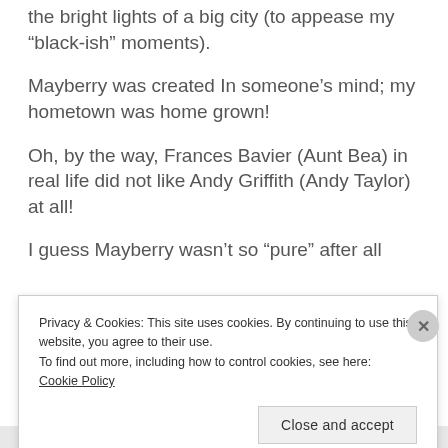the bright lights of a big city (to appease my “black-ish” moments).
Mayberry was created In someone’s mind; my hometown was home grown!
Oh, by the way, Frances Bavier (Aunt Bea) in real life did not like Andy Griffith (Andy Taylor) at all!
I guess Mayberry wasn’t so “pure” after all
Privacy & Cookies: This site uses cookies. By continuing to use this website, you agree to their use.
To find out more, including how to control cookies, see here:
Cookie Policy
Close and accept